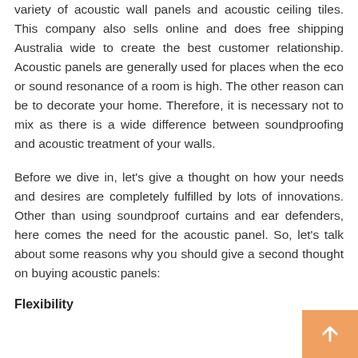variety of acoustic wall panels and acoustic ceiling tiles. This company also sells online and does free shipping Australia wide to create the best customer relationship. Acoustic panels are generally used for places when the eco or sound resonance of a room is high. The other reason can be to decorate your home. Therefore, it is necessary not to mix as there is a wide difference between soundproofing and acoustic treatment of your walls.
Before we dive in, let's give a thought on how your needs and desires are completely fulfilled by lots of innovations. Other than using soundproof curtains and ear defenders, here comes the need for the acoustic panel. So, let's talk about some reasons why you should give a second thought on buying acoustic panels:
Flexibility